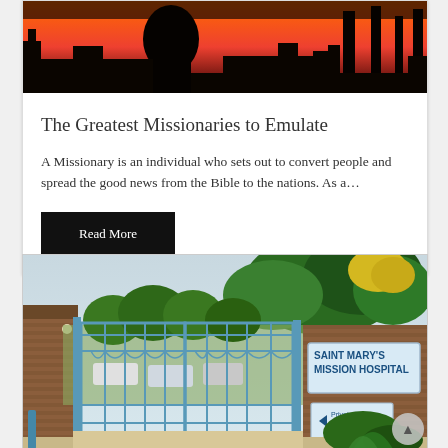[Figure (photo): Sunset silhouette photo showing dark trees and structures against an orange/red sky]
The Greatest Missionaries to Emulate
A Missionary is an individual who sets out to convert people and spread the good news from the Bible to the nations. As a…
Read More
[Figure (photo): Photo of the entrance gate to Saint Mary's Mission Hospital, showing blue metal gates, brick walls, green trees, and a sign reading SAINT MARY'S MISSION HOSPITAL with a Private Vehicles Entrance sign below]